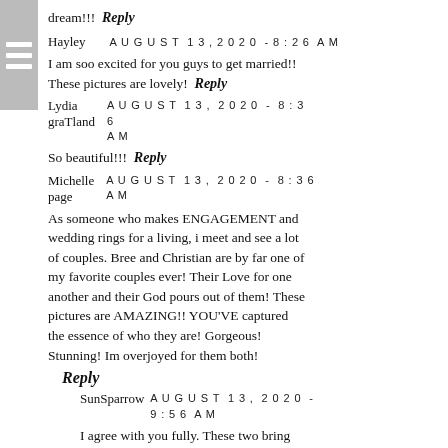dream!!!  Reply
Hayley   AUGUST 13, 2020 - 8:26 AM
I am soo excited for you guys to get married!! These pictures are lovely!  Reply
Lydia graTland   AUGUST 13, 2020 - 8:36 AM
So beautiful!!!  Reply
Michelle page   AUGUST 13, 2020 - 8:36 AM
As someone who makes ENGAGEMENT and wedding rings for a living, i meet and see a lot of couples. Bree and Christian are by far one of my favorite couples ever! Their Love for one another and their God pours out of them! These pictures are AMAZING!! YOU'VE captured the essence of who they are! Gorgeous! Stunning! Im overjoyed for them both!
Reply
SunSparrow   AUGUST 13, 2020 - 9:56 AM
I agree with you fully. These two bring